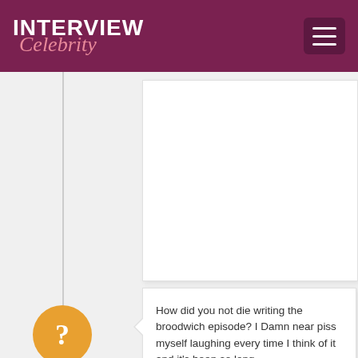INTERVIEW Celebrity
[Figure (other): White rectangular content block (advertisement or image placeholder)]
How did you not die writing the broodwich episode? I Damn near piss myself laughing every time I think of it and it's been so long.
hamtOes
The Broodwich will return this season. A brief